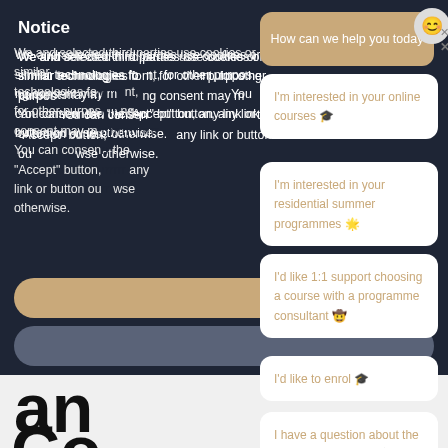Notice
We and selected third parties use cookies or similar technologies for technical purposes, with your consent, for other purposes as specified in the cookie policy. Denying consent may make related features unavailable. You can consent to the use of such technologies by using the "Accept" button. By closing this notice, by scrolling this page, by interacting with any link or button outside of this notice or by continuing to browse otherwise.
[Figure (screenshot): Chatbot widget overlay showing 'How can we help you today' header in tan/gold color, with a smiley face avatar, and multiple chat option buttons: 'I'm interested in your online courses', 'I'm interested in your residential summer programmes', 'I'd like 1:1 support choosing a course with a programme consultant', 'I'd like to enrol', 'I have a question about the Essay Competition', 'I have a different question']
I'm interested in your online courses 🎓
I'm interested in your residential summer programmes 🌟
I'd like 1:1 support choosing a course with a programme consultant 🤠
I'd like to enrol 🎓
I have a question about the Essay Competition 🎓
I have a different question 🎓